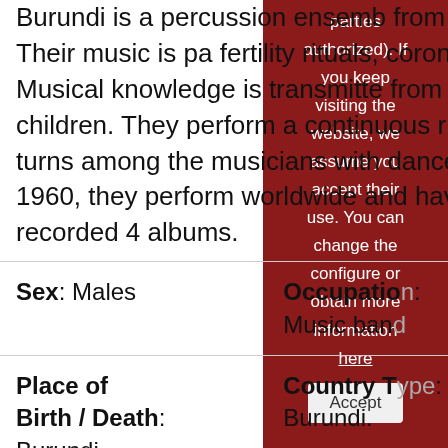Burundi is a percussion ensemble from Burundi. Their music is part of fertility rituals, coronation, etc. Musical knowledge is transmitted from parents to children. They perform a continuous rhythm in turns among the musicians with dance. Since 1960, they perform worldwide and have recorded 4 albums.
| Sex: Males | Occupation: Music band |
| Place of Birth / Death: Burundi. | Country T[ype]: Burundi. |
|  | Genres: Instrumen[tal] |
parties authorized). If you keep visiting the website, we assume you accept their use. You can change the configure or obtain more information here